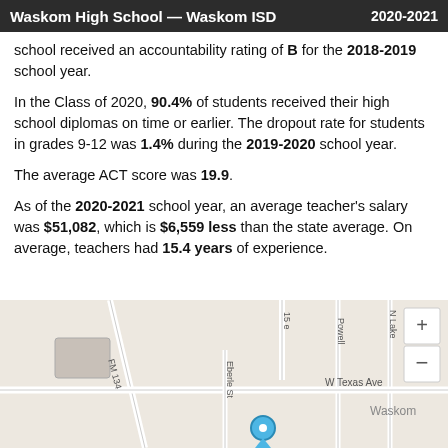Waskom High School — Waskom ISD   2020-2021
school received an accountability rating of B for the 2018-2019 school year.
In the Class of 2020, 90.4% of students received their high school diplomas on time or earlier. The dropout rate for students in grades 9-12 was 1.4% during the 2019-2020 school year.
The average ACT score was 19.9.
As of the 2020-2021 school year, an average teacher's salary was $51,082, which is $6,559 less than the state average. On average, teachers had 15.4 years of experience.
[Figure (map): Street map showing the location of Waskom High School in Waskom, TX, with streets labeled FM 134, Eberle St, W Texas Ave, Powell, N Lake, and a blue location pin marker.]